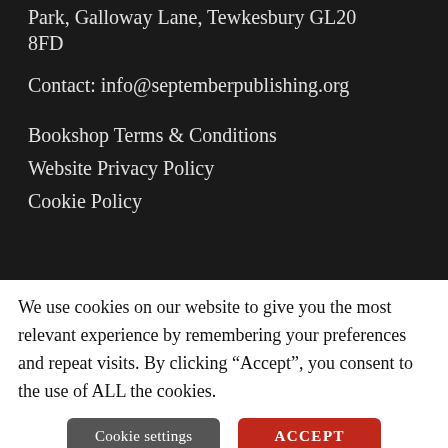Park, Galloway Lane, Tewkesbury GL20 8FD
Contact: info@septemberpublishing.org
Bookshop Terms & Conditions
Website Privacy Policy
Cookie Policy
We use cookies on our website to give you the most relevant experience by remembering your preferences and repeat visits. By clicking “Accept”, you consent to the use of ALL the cookies.